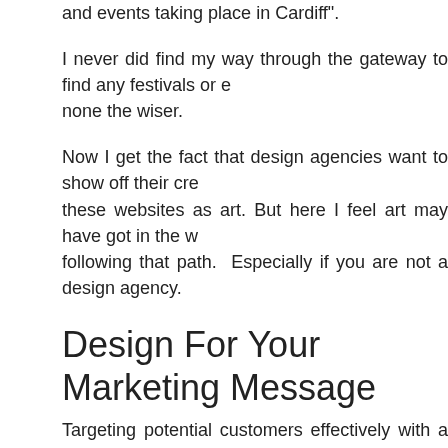and events taking place in Cardiff".
I never did find my way through the gateway to find any festivals or e none the wiser.
Now I get the fact that design agencies want to show off their cre these websites as art. But here I feel art may have got in the w following that path.  Especially if you are not a design agency.
Design For Your Marketing Message
Targeting potential customers effectively with a great value propo visitor to take the action you want. Oh and they get this message ins need to do. This is what will make your online presence effective.
Did you smile at the Portland street beggars message? If you can better.
Here is a good example:
Basecamp